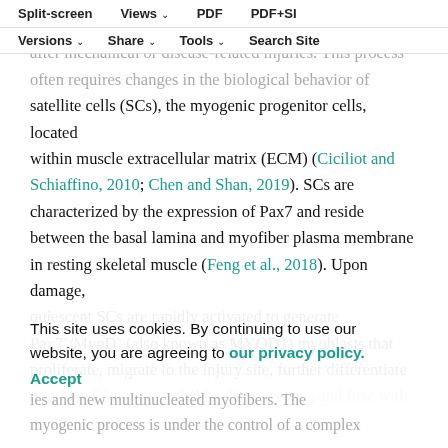Split-screen  Views  PDF  PDF+SI  Versions  Share  Tools  Search Site
Skeletal muscle has a remarkable capacity to regenerate after mechanical or disease-related injuries. This process often requires changes in the biological behavior of satellite cells (SCs), the myogenic progenitor cells, located within muscle extracellular matrix (ECM) (Ciciliot and Schiaffino, 2010; Chen and Shan, 2019). SCs are characterized by the expression of Pax7 and reside between the basal lamina and myofiber plasma membrane in resting skeletal muscle (Feng et al., 2018). Upon damage, quiescent SCs are rapidly activated to generate Pax7+/MyoD+ (also known as MYOD1) myoblasts that proliferate, migrate to the injury site, further differentiate into MyoD+/myogenin+ (MyoG) myocytes, and fuse with existing myofibers to generate new myofibers and new multinucleated myofibers. The myogenic process is under the control of a complex
This site uses cookies. By continuing to use our website, you are agreeing to our privacy policy. Accept